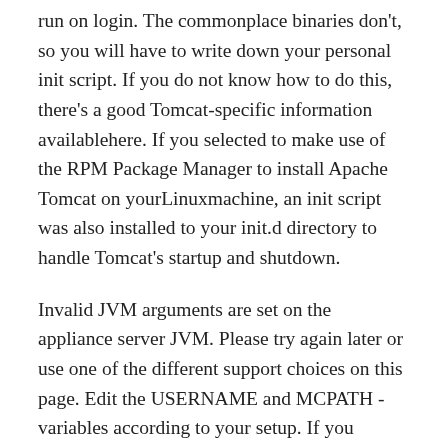run on login. The commonplace binaries don't, so you will have to write down your personal init script. If you do not know how to do this, there's a good Tomcat-specific information availablehere. If you selected to make use of the RPM Package Manager to install Apache Tomcat on yourLinuxmachine, an init script was also installed to your init.d directory to handle Tomcat's startup and shutdown.
Invalid JVM arguments are set on the appliance server JVM. Please try again later or use one of the different support choices on this page. Edit the USERNAME and MCPATH -variables according to your setup. If you employ a wrapper script, change INVOCATION to start out it as a substitute of beginning the server